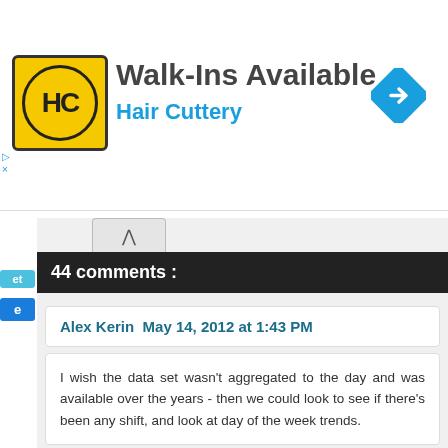[Figure (other): Hair Cuttery advertisement banner with logo, 'Walk-Ins Available' text, and navigation arrow icon]
44 comments :
Alex Kerin  May 14, 2012 at 1:43 PM
I wish the data set wasn't aggregated to the day and was available over the years - then we could look to see if there's been any shift, and look at day of the week trends.
Reply
VizWiz  May 14, 2012 at 1:48 PM